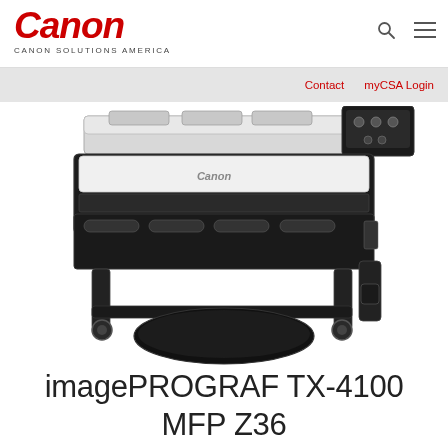Canon CANON SOLUTIONS AMERICA
Contact  myCSA Login
[Figure (photo): Canon imagePROGRAF TX-4100 MFP Z36 large format printer/scanner unit, shown in front view. The device is a large format inkjet printer with a scanner unit on top, mounted on a wheeled stand. Color scheme is black and light gray/white. A touchscreen control panel is visible on the upper right.]
imagePROGRAF TX-4100 MFP Z36